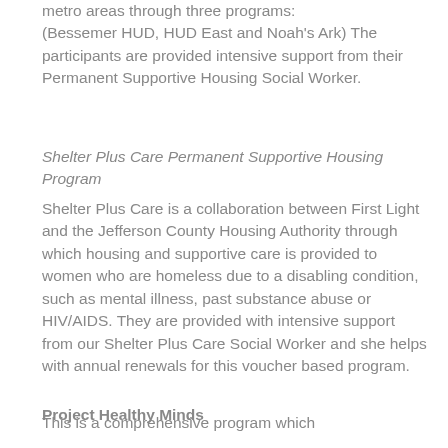metro areas through three programs: (Bessemer HUD, HUD East and Noah's Ark) The participants are provided intensive support from their Permanent Supportive Housing Social Worker.
Shelter Plus Care Permanent Supportive Housing Program
Shelter Plus Care is a collaboration between First Light and the Jefferson County Housing Authority through which housing and supportive care is provided to women who are homeless due to a disabling condition, such as mental illness, past substance abuse or HIV/AIDS. They are provided with intensive support from our Shelter Plus Care Social Worker and she helps with annual renewals for this voucher based program.
Project Healthy Minds
This is a comprehensive program which